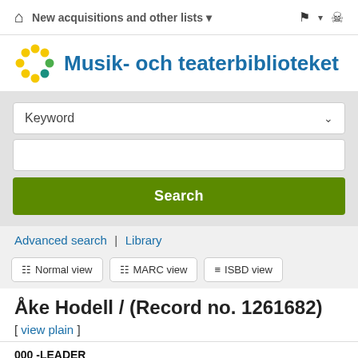New acquisitions and other lists ▾
[Figure (logo): Musik- och teaterbiblioteket logo — circular arrangement of yellow, green, and teal dots]
Musik- och teaterbiblioteket
Keyword (dropdown)
Search (button)
Advanced search | Library
Normal view  MARC view  ISBD view
Åke Hodell / (Record no. 1261682)
[ view plain ]
000 -LEADER